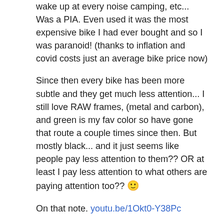wake up at every noise camping, etc... Was a PIA. Even used it was the most expensive bike I had ever bought and so I was paranoid! (thanks to inflation and covid costs just an average bike price now)
Since then every bike has been more subtle and they get much less attention... I still love RAW frames, (metal and carbon), and green is my fav color so have gone that route a couple times since then. But mostly black... and it just seems like people pay less attention to them?? OR at least I pay less attention to what others are paying attention too?? 🙂
On that note. youtu.be/1Okt0-Y38Pc
norcalbike (Feb 24, 2022 at 17:47) +1
@Ajorda: haha actually that's what I do currently but thinking some onyxes would help with that
norcalbike (Feb 24, 2022 at 17:49) +1
@Chondog94: we have some trails with long sight lines that you can see them before they have the chance to see you and avoid them or sneak back into the bushes
Chondog94 (Feb 24, 2022 at 18:48) +1